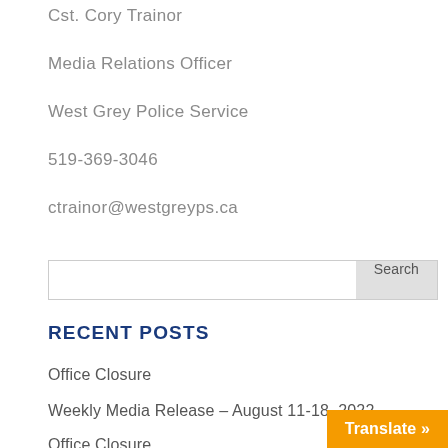Cst. Cory Trainor
Media Relations Officer
West Grey Police Service
519-369-3046
ctrainor@westgreyps.ca
Search
RECENT POSTS
Office Closure
Weekly Media Release – August 11-18, 2022
Office Closure
Translate »